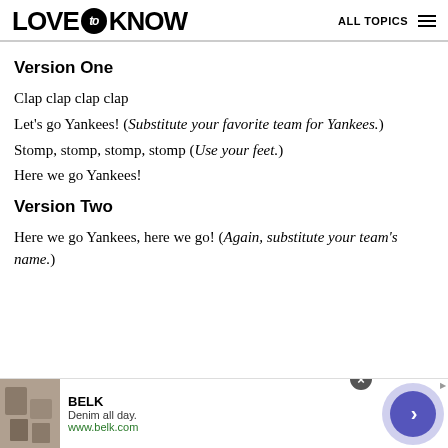LOVE to KNOW   ALL TOPICS
Version One
Clap clap clap clap
Let's go Yankees! (Substitute your favorite team for Yankees.)
Stomp, stomp, stomp, stomp (Use your feet.)
Here we go Yankees!
Version Two
Here we go Yankees, here we go! (Again, substitute your team's name.)
[Figure (other): Advertisement banner for BELK - Denim all day. www.belk.com with a circular arrow button and close button]